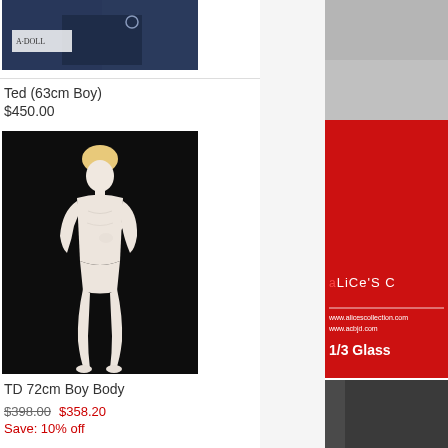[Figure (photo): Photo of Ted 63cm boy doll in dark blue hoodie with A·DOLL label]
Ted (63cm Boy)
$450.00
[Figure (photo): Photo of TD 72cm Boy Body doll figure against black background, poseable white resin body]
TD 72cm Boy Body
$398.00  $358.20
Save: 10% off
[Figure (photo): Photo of a doll wig with gray-blue fluffy hair]
[Figure (photo): Alice's Collection advertisement - red background with brand logo, URLs www.alicescollection.com and www.acbjd.com, text 1/3 Glass]
[Figure (photo): Bottom portion of advertisement showing dark gray/charcoal colored product]